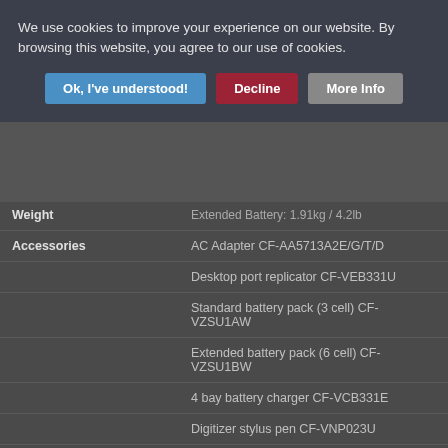We use cookies to improve your experience on our website. By browsing this website, you agree to our use of cookies.
| Property | Value |
| --- | --- |
| Weight | Extended Battery: 1.91kg / 4.2lb |
| Accessories | AC Adapter CF-AA5713A2E/G/T/D |
|  | Desktop port replicator CF-VEB331U |
|  | Standard battery pack (3 cell) CF-VZSU1AW |
|  | Extended battery pack (6 cell) CF-VZSU1BW |
|  | 4 bay battery charger CF-VCB331E |
|  | Digitizer stylus pen CF-VNP023U |
| Testing Standards | Water Resistance: IEC529 (JIS C0920) IPx5*** |
|  | Drop Resistance: MIL-STD 810G, 150cm*** |
|  | Dust Resistance: IEC529 (JIS C0920) |